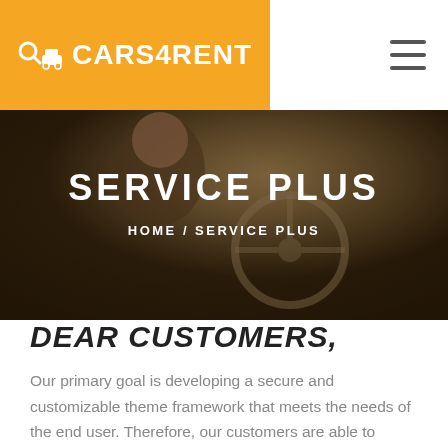CARS4RENT
[Figure (photo): Car interior/driver photo used as hero background image]
SERVICE PLUS
HOME / SERVICE PLUS
DEAR CUSTOMERS,
Our primary goal is developing a secure and customizable theme framework that meets the needs of the end user. Therefore, our customers are able to create websites using our templates as